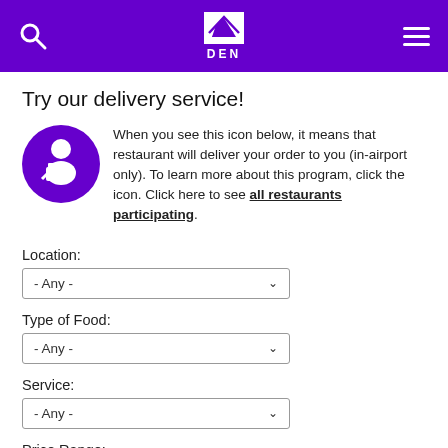DEN (Denver International Airport) header with search and menu icons
Try our delivery service!
When you see this icon below, it means that restaurant will deliver your order to you (in-airport only). To learn more about this program, click the icon. Click here to see all restaurants participating.
Location:
- Any -
Type of Food:
- Any -
Service:
- Any -
Price Range: